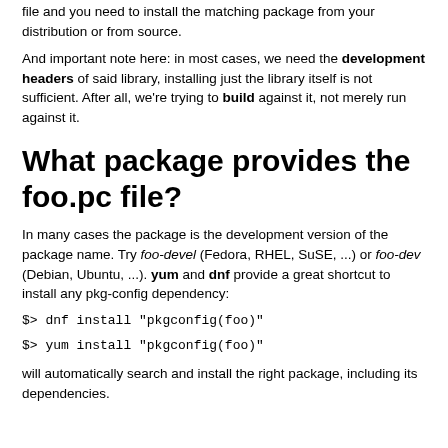file and you need to install the matching package from your distribution or from source.
And important note here: in most cases, we need the development headers of said library, installing just the library itself is not sufficient. After all, we're trying to build against it, not merely run against it.
What package provides the foo.pc file?
In many cases the package is the development version of the package name. Try foo-devel (Fedora, RHEL, SuSE, ...) or foo-dev (Debian, Ubuntu, ...). yum and dnf provide a great shortcut to install any pkg-config dependency:
$> dnf install "pkgconfig(foo)"
$> yum install "pkgconfig(foo)"
will automatically search and install the right package, including its dependencies.